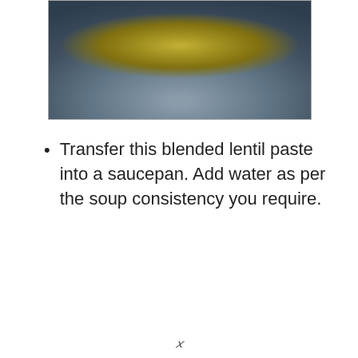[Figure (photo): Close-up photo of a blender or bowl containing greenish-brown blended lentil paste, with metallic rim visible, on a dark blue surface.]
Transfer this blended lentil paste into a saucepan. Add water as per the soup consistency you require.